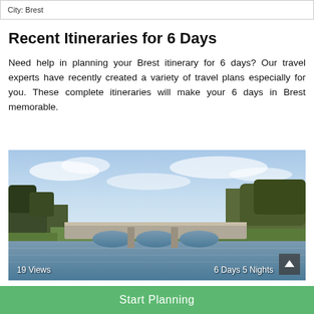City: Brest
Recent Itineraries for 6 Days
Need help in planning your Brest itinerary for 6 days? Our travel experts have recently created a variety of travel plans especially for you. These complete itineraries will make your 6 days in Brest memorable.
[Figure (photo): Scenic photo of a stone bridge over a calm river with trees and blue sky in Brest. Overlaid text: '19 Views' on the left and '6 Days 5 Nights' on the right.]
Start Planning